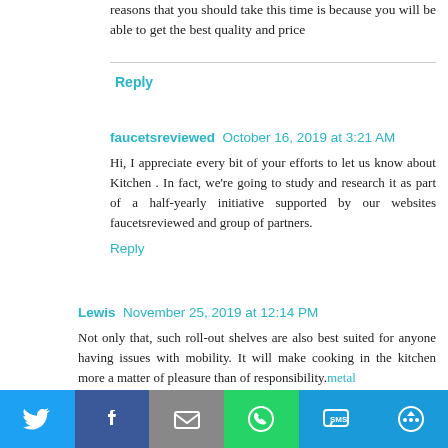reasons that you should take this time is because you will be able to get the best quality and price
Reply
faucetsreviewed  October 16, 2019 at 3:21 AM
Hi, I appreciate every bit of your efforts to let us know about Kitchen . In fact, we're going to study and research it as part of a half-yearly initiative supported by our websites faucetsreviewed and group of partners.
Reply
Lewis  November 25, 2019 at 12:14 PM
Not only that, such roll-out shelves are also best suited for anyone having issues with mobility. It will make cooking in the kitchen more a matter of pleasure than of responsibility.metal